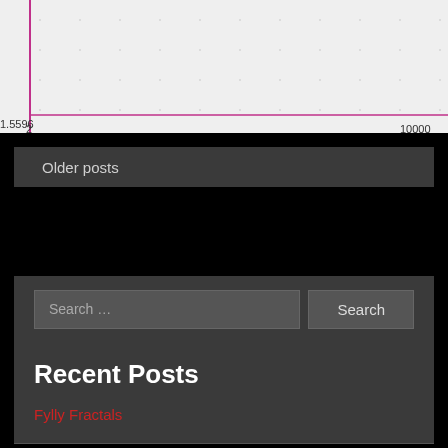[Figure (continuous-plot): A line chart with a light gray background showing a pink/magenta vertical line spike near x=2, then a nearly flat line extending to x=10000. Y-axis label shows 1.5596 at bottom. X-axis shows values 2 and 10000.]
Older posts
Search …
Search
Recent Posts
Fylly Fractals